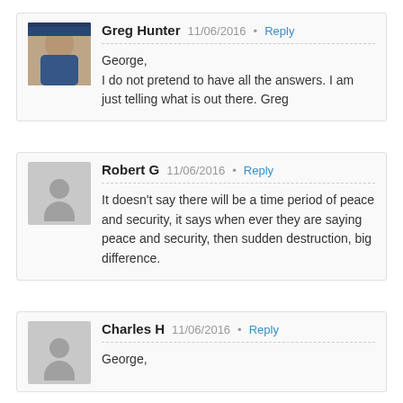Greg Hunter  11/06/2016 • Reply
George,
I do not pretend to have all the answers. I am just telling what is out there. Greg
Robert G  11/06/2016 • Reply
It doesn't say there will be a time period of peace and security, it says when ever they are saying peace and security, then sudden destruction, big difference.
Charles H  11/06/2016 • Reply
George,